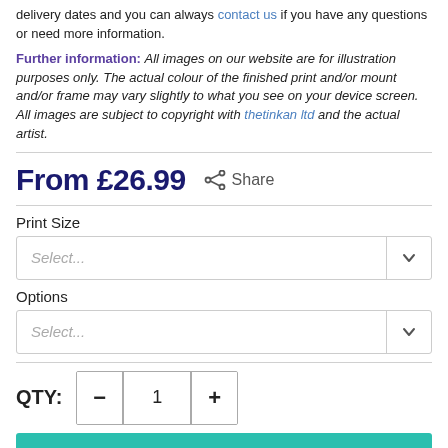delivery dates and you can always contact us if you have any questions or need more information.
Further information: All images on our website are for illustration purposes only. The actual colour of the finished print and/or mount and/or frame may vary slightly to what you see on your device screen. All images are subject to copyright with thetinkan ltd and the actual artist.
From £26.99   Share
Print Size
Select...
Options
Select...
QTY: — 1 +
ADD TO BASKET